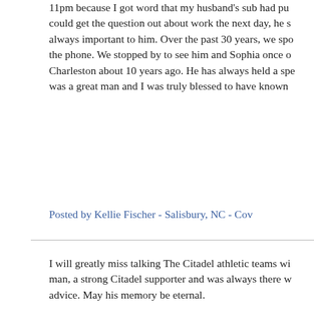11pm because I got word that my husband's sub had pu could get the question out about work the next day, he s always important to him. Over the past 30 years, we spo the phone. We stopped by to see him and Sophia once o Charleston about 10 years ago. He has always held a spe was a great man and I was truly blessed to have known
Posted by Kellie Fischer - Salisbury, NC - Cov
I will greatly miss talking The Citadel athletic teams wi man, a strong Citadel supporter and was always there w advice. May his memory be eternal.
Posted by David "Barney" Bornhorst - Mount Pleasant,
I am so sorry for your loss. Pete was a good man, very p always had an opinion on something. I got to know Pete (right before the turn of the century) and covered Citad